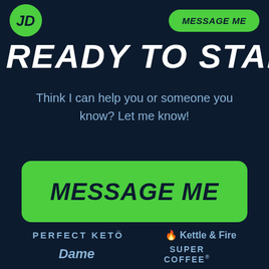JD | MESSAGE ME
READY TO START?
Think I can help you or someone you know? Let me know!
[Figure (other): Green button with text MESSAGE ME]
[Figure (logo): Brand logos: Perfect Keto, Kettle & Fire, Dame, Super Coffee]